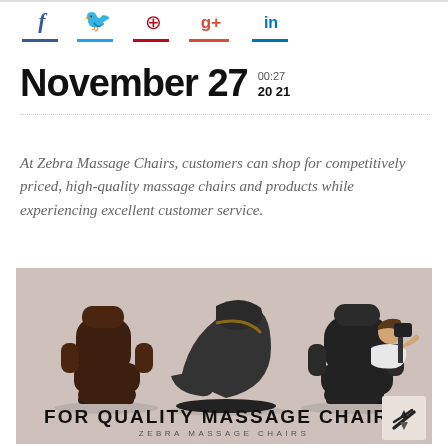[Figure (infographic): Social media icons: Facebook (f), Twitter bird, Pinterest (p), Google+ (g+), LinkedIn (in), each with a colored underline bar]
November 27  00:27 2021
At Zebra Massage Chairs, customers can shop for competitively priced, high-quality massage chairs and products while experiencing excellent customer service.
[Figure (photo): Three massage chairs on a beige/tan background: a dark brown recliner on the left, a sleek black modern chair in the center, and a black chair with a person relaxing in it on the right. Text overlay at bottom reads FOR QUALITY MASSAGE CHAIRS and ZEBRA MASSAGE CHAIRS with a Zebra logo.]